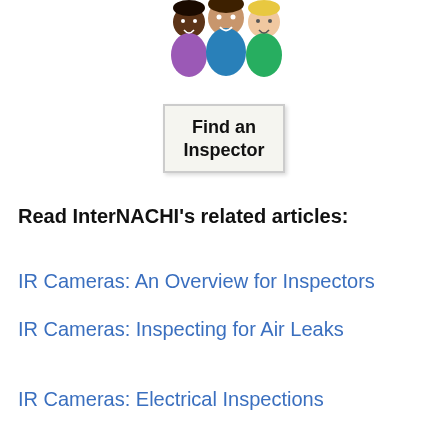[Figure (illustration): Cartoon illustration of three smiling people (diverse group) holding a sign that reads 'Find an Inspector']
Read InterNACHI's related articles:
IR Cameras: An Overview for Inspectors
IR Cameras: Inspecting for Air Leaks
IR Cameras: Electrical Inspections